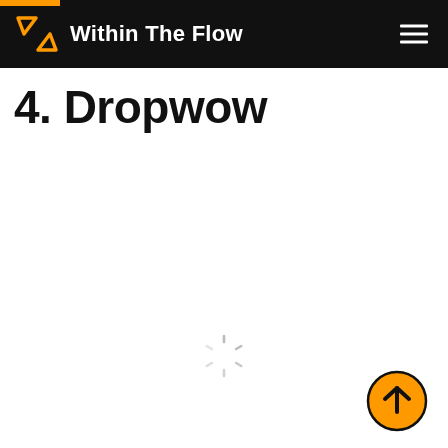Within The Flow
4. Dropwow
[Figure (infographic): Loading spinner (circular dashed animation indicator) centered on the page]
[Figure (infographic): Back to top button: orange filled circle with upward arrow icon, positioned at bottom right]